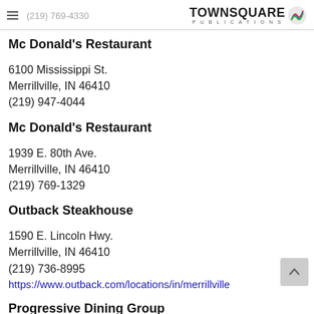(219) 769-4330 — TOWNSQUARE PUBLICATIONS
Mc Donald's Restaurant
6100 Mississippi St.
Merrillville, IN 46410
(219) 947-4044
Mc Donald's Restaurant
1939 E. 80th Ave.
Merrillville, IN 46410
(219) 769-1329
Outback Steakhouse
1590 E. Lincoln Hwy.
Merrillville, IN 46410
(219) 736-8995
https://www.outback.com/locations/in/merrillville
Progressive Dining Group